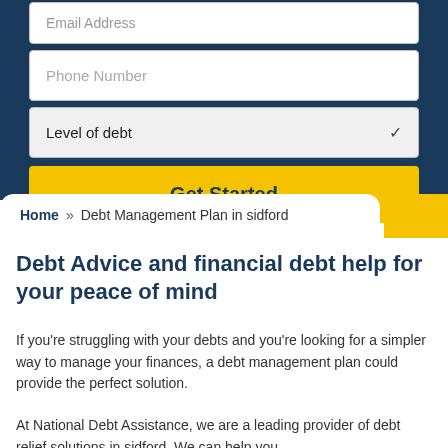[Figure (screenshot): Web form with Email Address field (partially visible at top), Phone Number input, Level of debt dropdown, and Get Started yellow button, on a dark blue background]
Home » Debt Management Plan in sidford
Debt Advice and financial debt help for your peace of mind
If you're struggling with your debts and you're looking for a simpler way to manage your finances, a debt management plan could provide the perfect solution.
At National Debt Assistance, we are a leading provider of debt relief solutions in sidford. We can help you